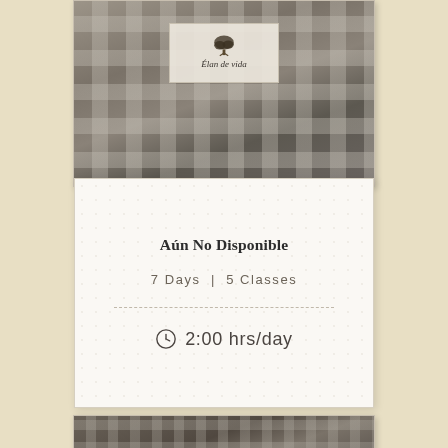[Figure (photo): Photo of a stone or brick wall with a wooden lattice structure and a sign reading 'Élan de vida' with a tree logo above it]
Aún No Disponible
7 Days | 5 Classes
2:00 hrs/day
[Figure (photo): Partial photo at bottom showing similar stone wall and wooden lattice structure as the top image]